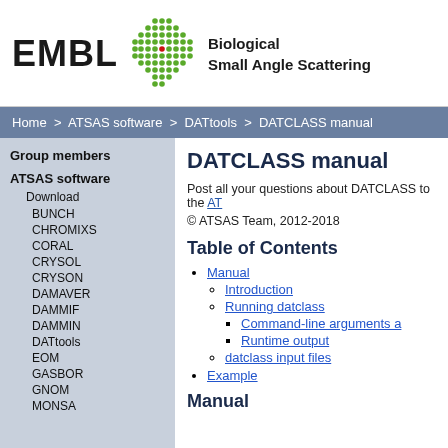[Figure (logo): EMBL Biological Small Angle Scattering logo with hexagonal dot pattern and EMBL text]
Home > ATSAS software > DATtools > DATCLASS manual
Group members
ATSAS software
Download
BUNCH
CHROMIXS
CORAL
CRYSOL
CRYSON
DAMAVER
DAMMIF
DAMMIN
DATtools
EOM
GASBOR
GNOM
MONSA
DATCLASS manual
Post all your questions about DATCLASS to the AT...
© ATSAS Team, 2012-2018
Table of Contents
Manual
Introduction
Running datclass
Command-line arguments a...
Runtime output
datclass input files
Example
Manual